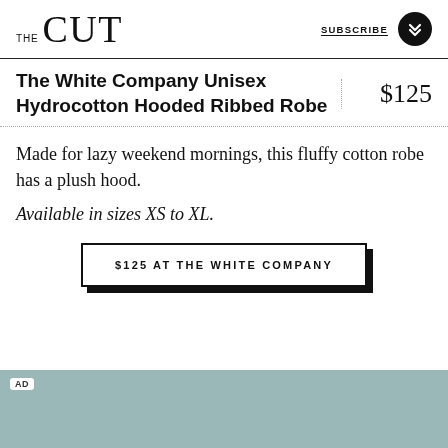THE CUT | SUBSCRIBE
The White Company Unisex Hydrocotton Hooded Ribbed Robe
$125
Made for lazy weekend mornings, this fluffy cotton robe has a plush hood.
Available in sizes XS to XL.
$125 AT THE WHITE COMPANY
[Figure (other): AD banner in teal/slate blue color at the bottom of the page]